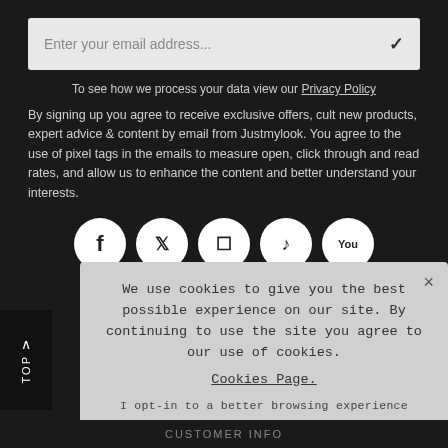[Figure (screenshot): Email input field with placeholder text 'Enter your email address...' and a checkmark icon on the right, on a light grey background]
To see how we process your data view our Privacy Policy
By signing up you agree to receive exclusive offers, cult new products, expert advice & content by email from Justmylook. You agree to the use of pixel tags in the emails to measure open, click through and read rates, and allow us to enhance the content and better understand your interests.
[Figure (other): Row of social media icon circles: Facebook, Twitter/X, Instagram, TikTok, YouTube]
We use cookies to give you the best possible experience on our site. By continuing to use the site you agree to our use of cookies. Cookies Page.
I opt-in to a better browsing experience
ACCEPT COOKIES
CUSTOMER INFO